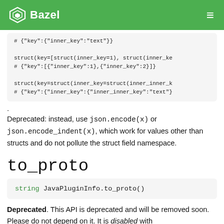Bazel
# {"key":{"inner_key":"text"}}

struct(key=[struct(inner_key=1), struct(inner_ke
# {"key":[{"inner_key":1},{"inner_key":2}]}

struct(key=struct(inner_key=struct(inner_inner_k
# {"key":{"inner_key":{"inner_inner_key":"text"}
.
Deprecated: instead, use json.encode(x) or json.encode_indent(x), which work for values other than structs and do not pollute the struct field namespace.
to_proto
string JavaPluginInfo.to_proto()
Deprecated. This API is deprecated and will be removed soon. Please do not depend on it. It is disabled with